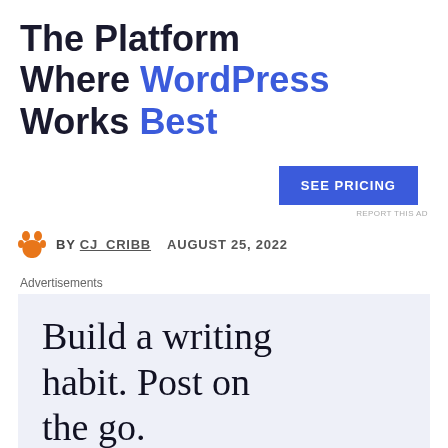The Platform Where WordPress Works Best
SEE PRICING
REPORT THIS AD
BY CJ_CRIBB   AUGUST 25, 2022
Advertisements
Build a writing habit. Post on the go.